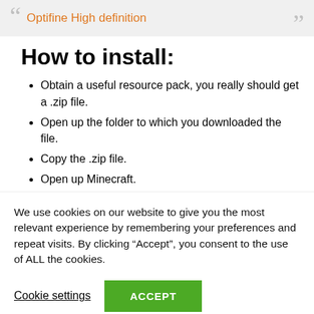Optifine High definition
How to install:
Obtain a useful resource pack, you really should get a .zip file.
Open up the folder to which you downloaded the file.
Copy the .zip file.
Open up Minecraft.
Simply click on "Options", then "Resource Packs".
Opt for "Open up useful resource pack folder"
We use cookies on our website to give you the most relevant experience by remembering your preferences and repeat visits. By clicking “Accept”, you consent to the use of ALL the cookies.
Cookie settings  ACCEPT